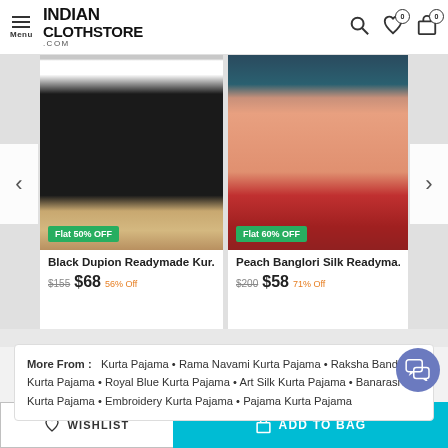INDIAN CLOTHSTORE.COM — Menu, Search, Wishlist 0, Bag 0
[Figure (photo): Product image of Black Dupion Readymade Kurta worn by a male model with a Flat 50% OFF badge]
[Figure (photo): Product image of Peach Banglori Silk Readymade suit worn by a female model with a Flat 60% OFF badge]
Black Dupion Readymade Kur...
$155  $68  56% Off
Peach Banglori Silk Readyma...
$200  $58  71% Off
More From: Kurta Pajama • Rama Navami Kurta Pajama • Raksha Bandhan Kurta Pajama • Royal Blue Kurta Pajama • Art Silk Kurta Pajama • Banarasi Kurta Pajama • Embroidery Kurta Pajama • Pajama Kurta Pajama
WISHLIST
ADD TO BAG